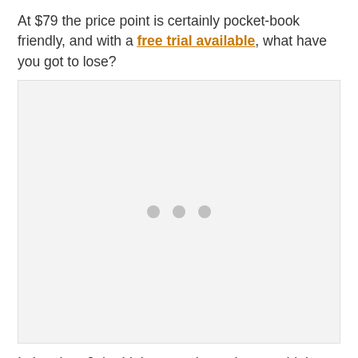At $79 the price point is certainly pocket-book friendly, and with a free trial available, what have you got to lose?
[Figure (other): Loading placeholder image with three gray dots centered on a light gray background]
Is Luminar 3 the Lightroom alternative you think